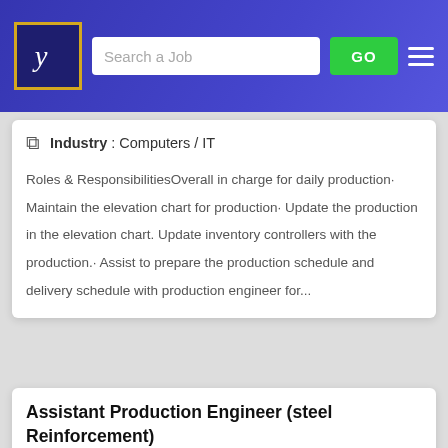Search a Job  GO
Industry : Computers / IT
Roles & ResponsibilitiesOverall in charge for daily production· Maintain the elevation chart for production· Update the production in the elevation chart. Update inventory controllers with the production.· Assist to prepare the production schedule and delivery schedule with production engineer for...
Assistant Production Engineer (steel Reinforcement)
POST YOUR RESUME HERE
Location : Null